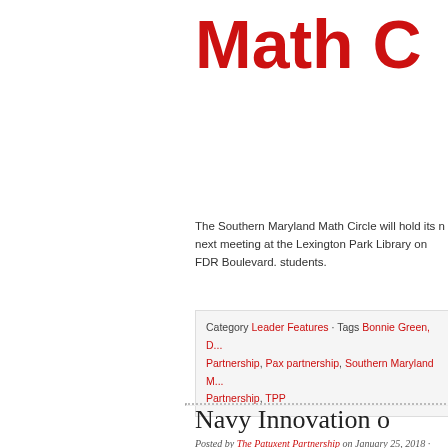Math C
The Southern Maryland Math Circle will hold its next meeting at the Lexington Park Library on FDR Boulevard. students.
Category Leader Features · Tags Bonnie Green, D... Partnership, Pax partnership, Southern Maryland M... Partnership, TPP
Navy Innovation o
Posted by The Patuxent Partnership on January 25, 2018